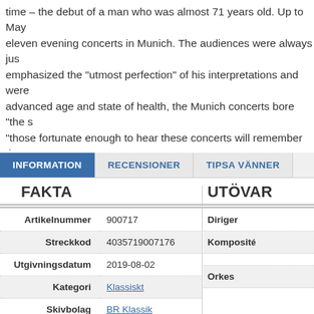time – the debut of a man who was almost 71 years old. Up to May eleven evening concerts in Munich. The audiences were always just emphasized the "utmost perfection" of his interpretations and were advanced age and state of health, the Munich concerts bore "the s "those fortunate enough to hear these concerts will remember them KLASSIK features Klemperer's interpretations of Haydn's Sympho the concerts of October 18 and 19, 1956), and Brahms' Fourth Syn 27, 1957). - Both works form part of the core classical and romanti which Klemperer, like his Munich orchestra, was so familiar. • Two symphonic core repertoire, in masterly interpretations • Historic rec September 1957, restored as well as possible • The famous condu performances with the Symphonieorchester des Bayerischen Rund
INFORMATION | RECENSIONER | TIPSA VÄNNER
FAKTA
UTÖVA
| Label | Value |
| --- | --- |
| Artikelnummer | 900717 |
| Streckkod | 4035719007176 |
| Utgivningsdatum | 2019-08-02 |
| Kategori | Klassiskt |
| Skivbolag | BR Klassik |
| Label |
| --- |
| Diriger |
| Komposit |
| Orkes |